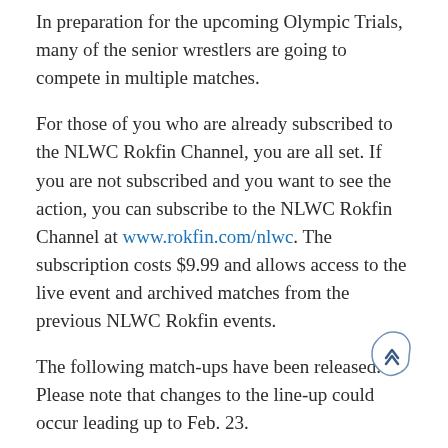In preparation for the upcoming Olympic Trials, many of the senior wrestlers are going to compete in multiple matches.
For those of you who are already subscribed to the NLWC Rokfin Channel, you are all set. If you are not subscribed and you want to see the action, you can subscribe to the NLWC Rokfin Channel at www.rokfin.com/nlwc. The subscription costs $9.99 and allows access to the live event and archived matches from the previous NLWC Rokfin events.
The following match-ups have been released.  Please note that changes to the line-up could occur leading up to Feb. 23.
6:00 PM-Junior Card